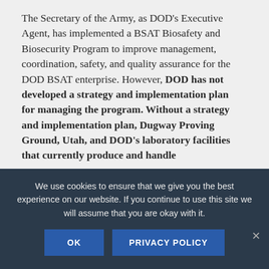The Secretary of the Army, as DOD's Executive Agent, has implemented a BSAT Biosafety and Biosecurity Program to improve management, coordination, safety, and quality assurance for the DOD BSAT enterprise. However, DOD has not developed a strategy and implementation plan for managing the program. Without a strategy and implementation plan, Dugway Proving Ground, Utah, and DOD's laboratory facilities that currently produce and handle BSAT...
We use cookies to ensure that we give you the best experience on our website. If you continue to use this site we will assume that you are okay with it.